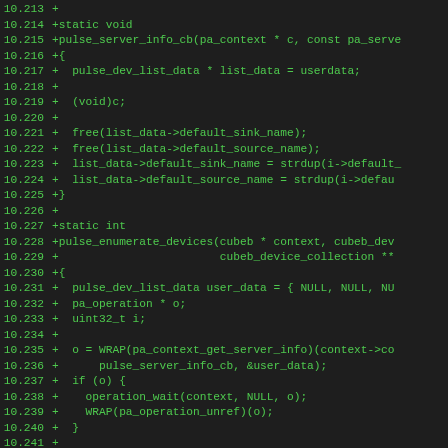Code diff showing C function definitions for pulse_server_info_cb and pulse_enumerate_devices, lines 10.213 through 10.244